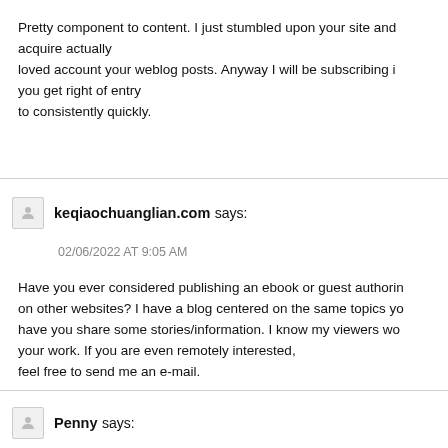Pretty component to content. I just stumbled upon your site and acquire actually loved account your weblog posts. Anyway I will be subscribing in you get right of entry to consistently quickly.
keqiaochuanglian.com says:
02/06/2022 AT 9:05 AM
Have you ever considered publishing an ebook or guest authoring on other websites? I have a blog centered on the same topics you have you share some stories/information. I know my viewers wo your work. If you are even remotely interested, feel free to send me an e-mail.
Penny says: